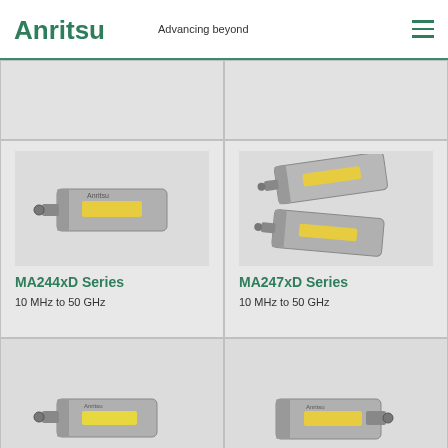Anritsu Advancing beyond
[Figure (photo): Top-left product card image area (partially visible, cut off at top)]
[Figure (photo): Top-right product card image area (partially visible, cut off at top)]
[Figure (photo): MA244xD Series USB power sensor device photo - gray rectangular device with yellow label]
MA244xD Series
10 MHz to 50 GHz
[Figure (photo): MA247xD Series USB power sensor device photo - two gray rectangular devices with yellow labels]
MA247xD Series
10 MHz to 50 GHz
[Figure (photo): Bottom-left product card - USB power sensor device photo (partially visible)]
[Figure (photo): Bottom-right product card - USB power sensor device photo (partially visible)]